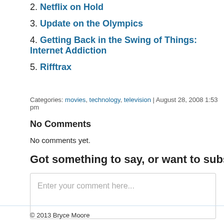2. Netflix on Hold
3. Update on the Olympics
4. Getting Back in the Swing of Things: Internet Addiction
5. Rifftrax
Categories: movies, technology, television | August 28, 2008 1:53 pm
No Comments
No comments yet.
Got something to say, or want to subscribe to my
Enter your comment here...
© 2013 Bryce Moore